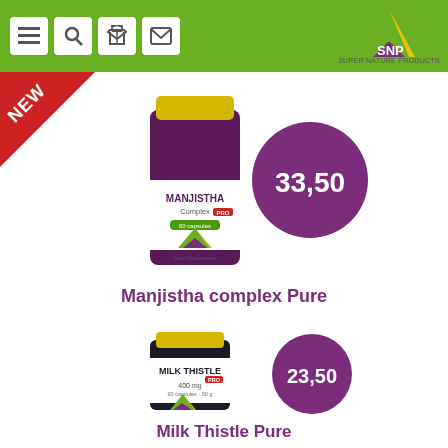SNP Super Nature Products — navigation bar with menu, search, cart, mail icons
[Figure (logo): SNP Super Nature Products logo with green and yellow triangle and purple base]
[Figure (photo): NEW badge (red triangle) and Manjistha Complex Pure supplement bottle (purple jar, yellow lid) with purple price bubble showing 33,50]
Manjistha complex Pure
[Figure (photo): Milk Thistle Pure 400 mg supplement bottle (dark jar, yellow lid) with purple price bubble showing 23,50]
Milk Thistle Pure